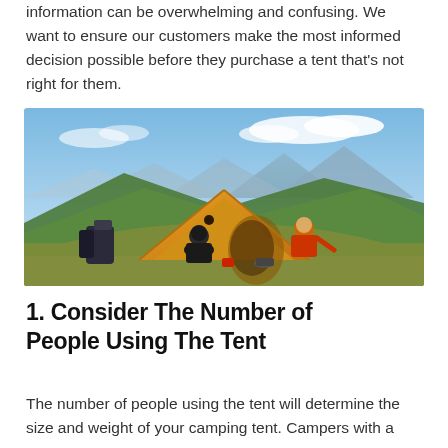information can be overwhelming and confusing. We want to ensure our customers make the most informed decision possible before they purchase a tent that's not right for them.
[Figure (photo): Two campers, one in black and one in red jacket, sitting outside a yellow dome tent on a grassy mountain hilltop with scenic mountain range and blue sky in the background.]
1. Consider The Number of People Using The Tent
The number of people using the tent will determine the size and weight of your camping tent. Campers with a